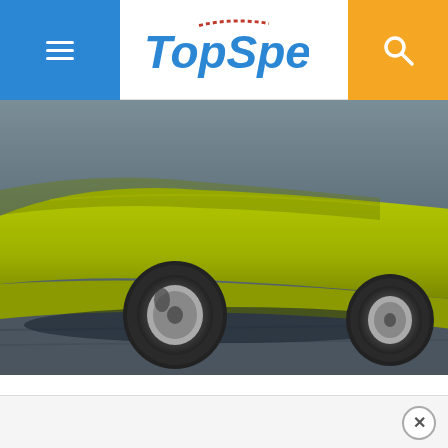TopSpeed
[Figure (photo): Bottom portion of a yellow-green Honda Insight concept car in motion, showing the front bumper, wheels, and road surface from a low angle against a dark asphalt background.]
Read our full review on the 2000-2006 Honda Insight.